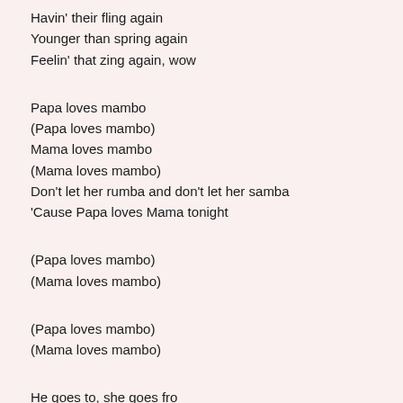Havin' their fling again
Younger than spring again
Feelin' that zing again, wow
Papa loves mambo
(Papa loves mambo)
Mama loves mambo
(Mama loves mambo)
Don't let her rumba and don't let her samba
'Cause Papa loves Mama tonight
(Papa loves mambo)
(Mama loves mambo)
(Papa loves mambo)
(Mama loves mambo)
He goes to, she goes fro
He goes fast, she goes slow
He goes left 'n' she goes right
(Papa's lookin' for Mama)
(But Mama is nowhere in sight)